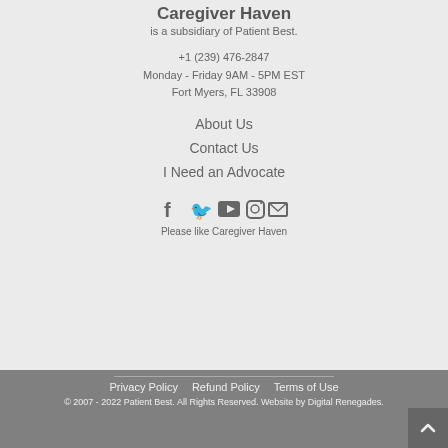Caregiver Haven
is a subsidiary of Patient Best.
+1 (239) 476-2847
Monday - Friday 9AM - 5PM EST
Fort Myers, FL 33908
About Us
Contact Us
I Need an Advocate
[Figure (infographic): Social media icons: Facebook, Twitter, YouTube, Instagram, Email]
Please like Caregiver Haven
Privacy Policy   Refund Policy   Terms of Use
© 2007 - 2022 Patient Best. All Rights Reserved. Website by Digital Renegades.